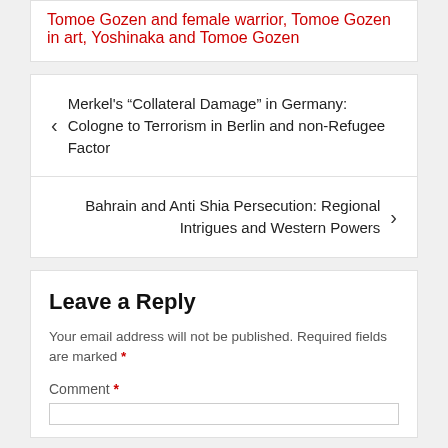Tomoe Gozen and female warrior, Tomoe Gozen in art, Yoshinaka and Tomoe Gozen
Merkel's “Collateral Damage” in Germany: Cologne to Terrorism in Berlin and non-Refugee Factor
Bahrain and Anti Shia Persecution: Regional Intrigues and Western Powers
Leave a Reply
Your email address will not be published. Required fields are marked *
Comment *